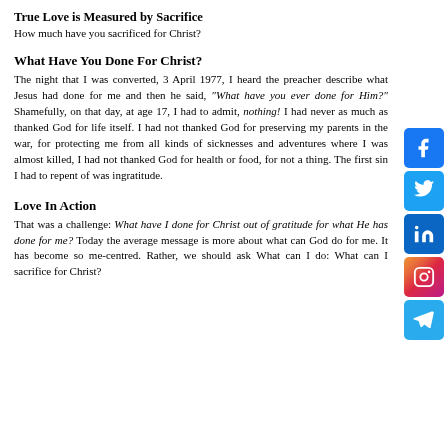True Love is Measured by Sacrifice
How much have you sacrificed for Christ?
What Have You Done For Christ?
The night that I was converted, 3 April 1977, I heard the preacher describe what Jesus had done for me and then he said, "What have you ever done for Him?" Shamefully, on that day, at age 17, I had to admit, nothing! I had never as much as thanked God for life itself. I had not thanked God for preserving my parents in the war, for protecting me from all kinds of sicknesses and adventures where I was almost killed, I had not thanked God for health or food, for not a thing. The first sin I had to repent of was ingratitude.
Love In Action
That was a challenge: What have I done for Christ out of gratitude for what He has done for me? Today the average message is more about what can God do for me. It has become so me-centred. Rather, we should ask What can I do: What can I sacrifice for Christ?